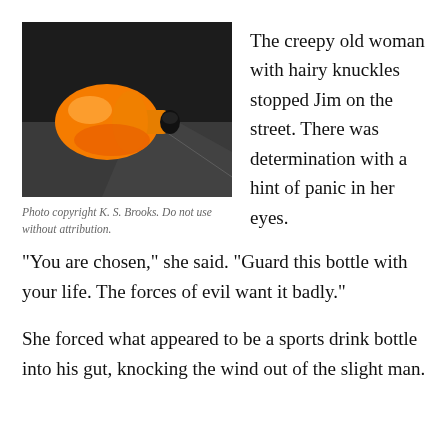[Figure (photo): Close-up photo of an orange sports drink bottle against a dark background, lying on its side with a black cap visible on the right side.]
Photo copyright K. S. Brooks. Do not use without attribution.
The creepy old woman with hairy knuckles stopped Jim on the street. There was determination with a hint of panic in her eyes.
“You are chosen,” she said. “Guard this bottle with your life. The forces of evil want it badly.”
She forced what appeared to be a sports drink bottle into his gut, knocking the wind out of the slight man.